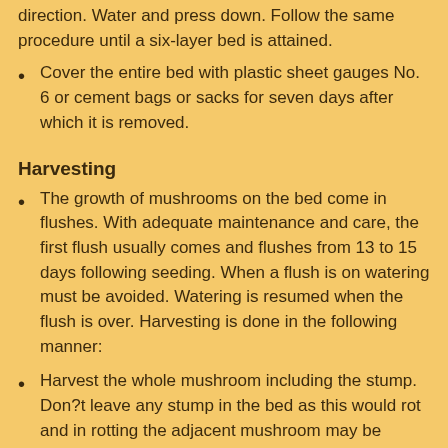direction. Water and press down. Follow the same procedure until a six-layer bed is attained.
Cover the entire bed with plastic sheet gauges No. 6 or cement bags or sacks for seven days after which it is removed.
Harvesting
The growth of mushrooms on the bed come in flushes. With adequate maintenance and care, the first flush usually comes and flushes from 13 to 15 days following seeding. When a flush is on watering must be avoided. Watering is resumed when the flush is over. Harvesting is done in the following manner:
Harvest the whole mushroom including the stump. Don?t leave any stump in the bed as this would rot and in rotting the adjacent mushroom may be affected.